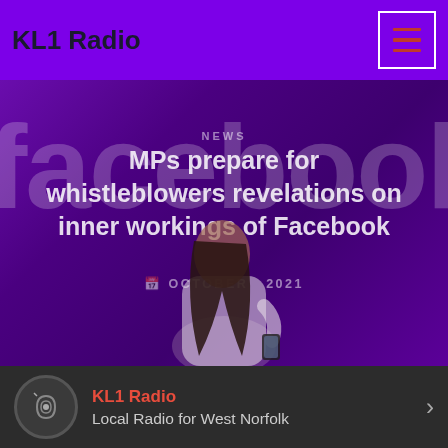KL1 Radio
[Figure (photo): Woman walking in front of a large Facebook logo/sign, looking down at her phone. Purple-toned background with large 'facebook' text. Overlaid headline text reads 'MPs prepare for whistleblowers revelations on inner workings of Facebook'. Date: OCTOBER 2021.]
MPs prepare for whistleblowers revelations on inner workings of Facebook
OCTOBER 2021
KL1 Radio — Local Radio for West Norfolk